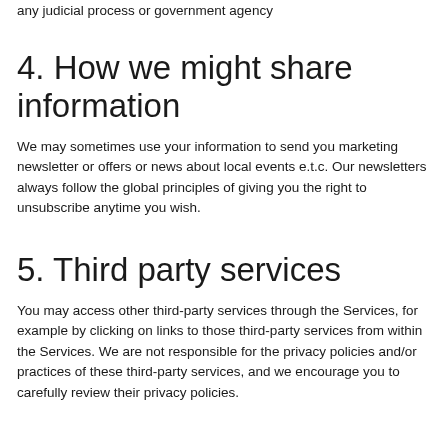any judicial process or government agency
4. How we might share information
We may sometimes use your information to send you marketing newsletter or offers or news about local events e.t.c. Our newsletters always follow the global principles of giving you the right to unsubscribe anytime you wish.
5. Third party services
You may access other third-party services through the Services, for example by clicking on links to those third-party services from within the Services. We are not responsible for the privacy policies and/or practices of these third-party services, and we encourage you to carefully review their privacy policies.